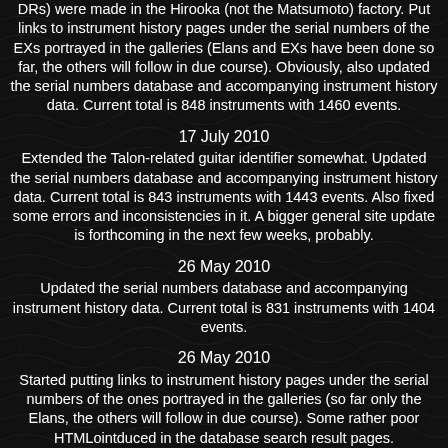DRs) were made in the Hirooka (not the Matsumoto) factory. Put links to instrument history pages under the serial numbers of the EXs portrayed in the galleries (Elans and EXs have been done so far, the others will follow in due course). Obviously, also updated the serial numbers database and accompanying instrument history data. Current total is 848 instruments with 1460 events.
17 July 2010
Extended the Talon-related guitar identifier somewhat. Updated the serial numbers database and accompanying instrument history data. Current total is 843 instruments with 1443 events. Also fixed some errors and inconsistencies in it. A bigger general site update is forthcoming in the next few weeks, probably.
26 May 2010
Updated the serial numbers database and accompanying instrument history data. Current total is 831 instruments with 1404 events.
26 May 2010
Started putting links to instrument history pages under the serial numbers of the ones portrayed in the galleries (so far only the Elans, the others will follow in due course). Some rather poor HTMLointduced in the database search result pages.